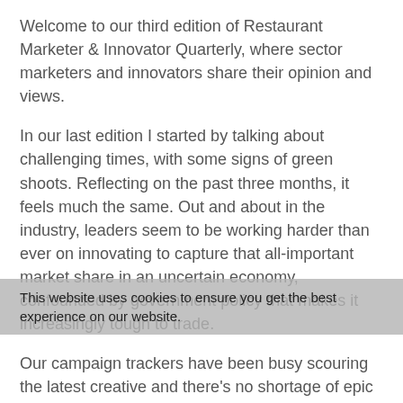Welcome to our third edition of Restaurant Marketer & Innovator Quarterly, where sector marketers and innovators share their opinion and views.
In our last edition I started by talking about challenging times, with some signs of green shoots. Reflecting on the past three months, it feels much the same. Out and about in the industry, leaders seem to be working harder than ever on innovating to capture that all-important market share in an uncertain economy, confounded by government policy that makes it increasingly tough to trade.
Our campaign trackers have been busy scouring the latest creative and there's no shortage of epic initiatives out there. The Pizza Pilgrims team was searching for professional pizza tasters in a nifty freshers marketing campaign, while we saw Starbucks continue to fight back against bad press surrounding social inclusion by
This website uses cookies to ensure you get the best experience on our website.